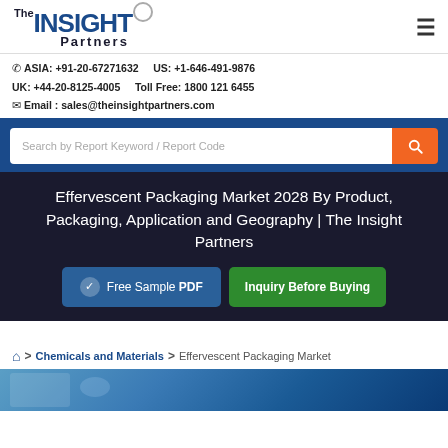The Insight Partners — ASIA: +91-20-67271632  US: +1-646-491-9876  UK: +44-20-8125-4005  Toll Free: 1800 121 6455  Email: sales@theinsightpartners.com
Effervescent Packaging Market 2028 By Product, Packaging, Application and Geography | The Insight Partners
Free Sample PDF   Inquiry Before Buying
> Chemicals and Materials > Effervescent Packaging Market